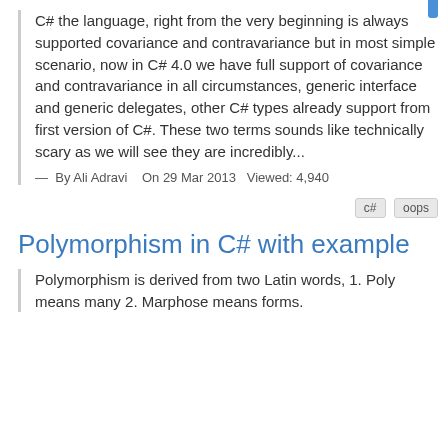C# the language, right from the very beginning is always supported covariance and contravariance but in most simple scenario, now in C# 4.0 we have full support of covariance and contravariance in all circumstances, generic interface and generic delegates, other C# types already support from first version of C#. These two terms sounds like technically scary as we will see they are incredibly...
— By Ali Adravi   On 29 Mar 2013  Viewed: 4,940
Polymorphism in C# with example
Polymorphism is derived from two Latin words, 1. Poly means many 2. Marphose means forms.